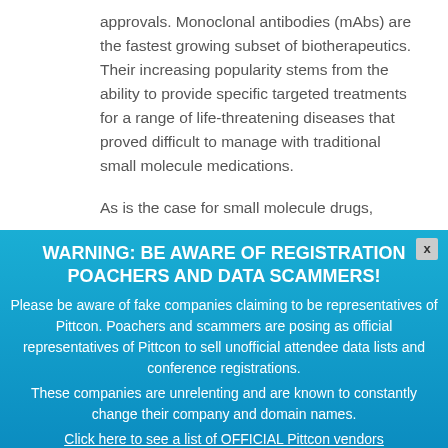approvals. Monoclonal antibodies (mAbs) are the fastest growing subset of biotherapeutics. Their increasing popularity stems from the ability to provide specific targeted treatments for a range of life-threatening diseases that proved difficult to manage with traditional small molecule medications.
As is the case for small molecule drugs,
WARNING: BE AWARE OF REGISTRATION POACHERS AND DATA SCAMMERS! Please be aware of fake companies claiming to be representatives of Pittcon. Poachers and scammers are posing as official representatives of Pittcon to sell unofficial attendee data lists and conference registrations. These companies are unrelenting and are known to constantly change their company and domain names. Click here to see a list of OFFICIAL Pittcon vendors